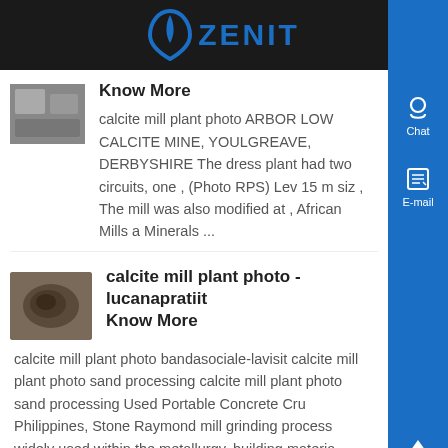ZENIT
Know More
calcite mill plant photo ARBOR LOW CALCITE MINE, YOULGREAVE, DERBYSHIRE The dress plant had two circuits, one , (Photo RPS) Lev 15 m siz , The mill was also modified at , African Mills a Minerals ...
calcite mill plant photo - lucanapratiit Know More
calcite mill plant photo bandasociale-lavisit calcite mill plant photo sand processing calcite mill plant photo sand processing Used Portable Concrete Cru Philippines, Stone Raymond mill grinding process widely used within the metallurgy, building materia